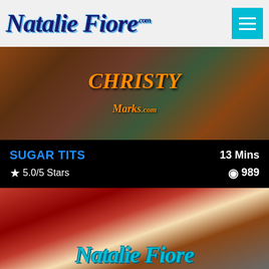Natalie Fiore .com
[Figure (photo): Christy Marks promotional banner image with colorful background]
SUGAR TITS   13 Mins
★ 5.0/5 Stars   👁 989
[Figure (photo): Natalie Fiore photo in red outfit leaning forward, with Natalie Fiore logo at bottom]